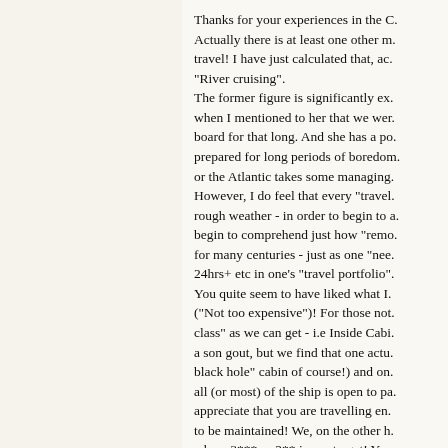Thanks for your experiences in the C. Actually there is at least one other m. travel! I have just calculated that, ac. "River cruising". The former figure is significantly ex. when I mentioned to her that we wer. board for that long. And she has a po. prepared for long periods of boredom. or the Atlantic takes some managing. However, I do feel that every "travel. rough weather - in order to begin to a. begin to comprehend just how "remo. for many centuries - just as one "nee. 24hrs+ etc in one's "travel portfolio". You quite seem to have liked what I. ("Not too expensive")! For those not. class" as we can get - i.e Inside Cabi. a son gout, but we find that one actu. black hole" cabin of course!) and on. all (or most) of the ship is open to pa. appreciate that you are travelling en. to be maintained! We, on the other h. where 3*** or 2** is our target! You. very high up my list come a. Entertainment b. Captain's dinners